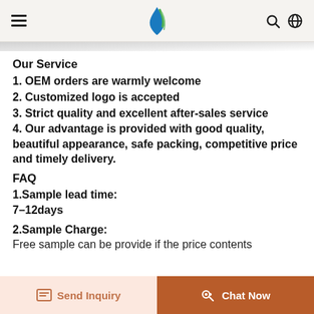Navigation header with hamburger menu, logo, search and globe icons
Our Service
1. OEM orders are warmly welcome
2. Customized logo is accepted
3. Strict quality and excellent after-sales service
4. Our advantage is provided with good quality, beautiful appearance, safe packing, competitive price and timely delivery.
FAQ
1.Sample lead time:
7–12days
2.Sample Charge:
Free sample can be provide if the price contents
Send Inquiry | Chat Now